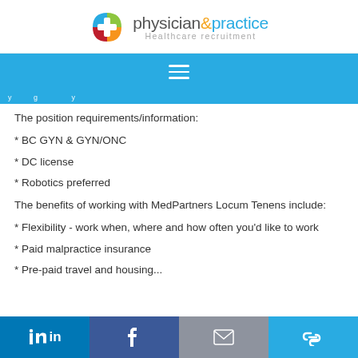physician&practice Healthcare recruitment
The position requirements/information:
* BC GYN & GYN/ONC
* DC license
* Robotics preferred
The benefits of working with MedPartners Locum Tenens include:
* Flexibility - work when, where and how often you'd like to work
* Paid malpractice insurance
* Pre-paid travel and housing...